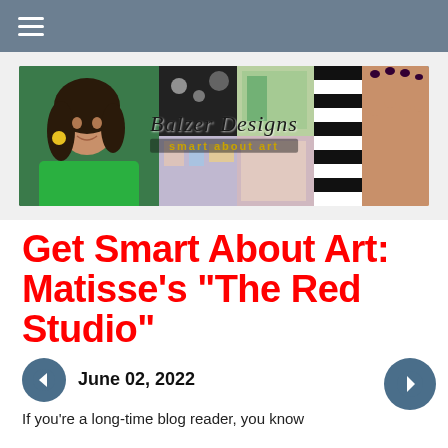≡ (hamburger menu)
[Figure (photo): Balzer Designs blog banner image showing a smiling woman with curly dark hair and yellow earrings on the left, art supplies and colorful artwork collage in the center and right, with text 'Balzer Designs — smart about art']
Get Smart About Art: Matisse's "The Red Studio"
June 02, 2022
If you're a long-time blog reader, you know